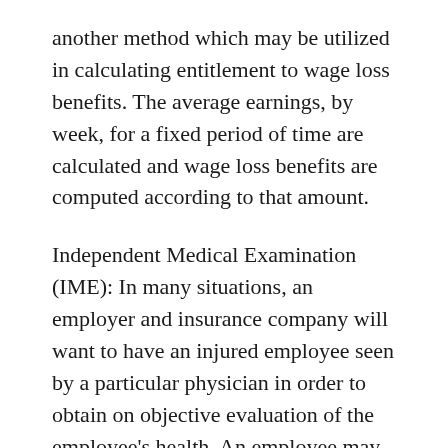another method which may be utilized in calculating entitlement to wage loss benefits. The average earnings, by week, for a fixed period of time are calculated and wage loss benefits are computed according to that amount.
Independent Medical Examination (IME): In many situations, an employer and insurance company will want to have an injured employee seen by a particular physician in order to obtain on objective evaluation of the employee's health. An employee may initially be seen by a company physician, or a physician of their own choosing, However, if litigation commences over the extent of the employee's injuries (or